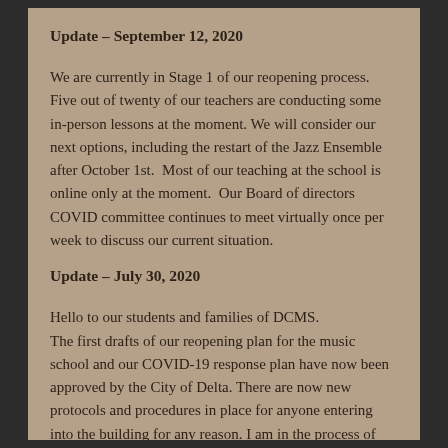Update – September 12, 2020
We are currently in Stage 1 of our reopening process. Five out of twenty of our teachers are conducting some in-person lessons at the moment. We will consider our next options, including the restart of the Jazz Ensemble after October 1st.  Most of our teaching at the school is online only at the moment.  Our Board of directors COVID committee continues to meet virtually once per week to discuss our current situation.
Update – July 30, 2020
Hello to our students and families of DCMS.
The first drafts of our reopening plan for the music school and our COVID-19 response plan have now been approved by the City of Delta. There are now new protocols and procedures in place for anyone entering into the building for any reason. I am in the process of creating a new website for the school which will be published later in August, so for now I will list all of the documents here.